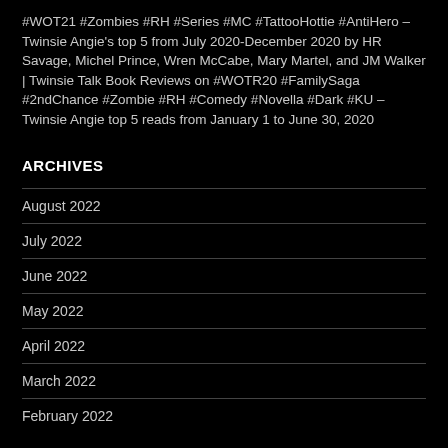#WOT21 #Zombies #RH #Series #MC #TattooHottie #AntiHero – Twinsie Angie's top 5 from July 2020-December 2020 by HR Savage, Michel Prince, Wren McCabe, Mary Martel, and JM Walker | Twinsie Talk Book Reviews on #WOTR20 #FamilySaga #2ndChance #Zombie #RH #Comedy #Novella #Dark #KU – Twinsie Angie top 5 reads from January 1 to June 30, 2020
ARCHIVES
August 2022
July 2022
June 2022
May 2022
April 2022
March 2022
February 2022